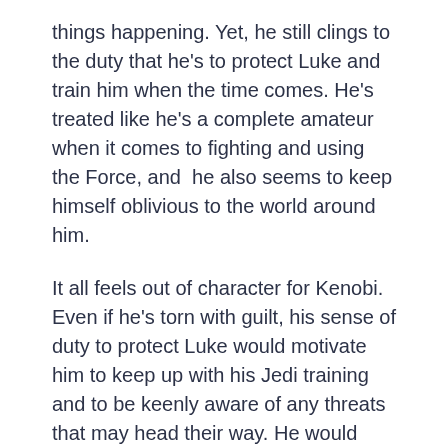things happening. Yet, he still clings to the duty that he's to protect Luke and train him when the time comes. He's treated like he's a complete amateur when it comes to fighting and using the Force, and he also seems to keep himself oblivious to the world around him.
It all feels out of character for Kenobi. Even if he's torn with guilt, his sense of duty to protect Luke would motivate him to keep up with his Jedi training and to be keenly aware of any threats that may head their way. He would know that he would need to be ready, and even after 10 years, he's spent a lifetime training and fighting as a Jedi. He might get rusty, but the skills are still going to be there.
There are a couple of scenes that reinforce this idea that Obi-Wan, now Ben, is in hiding and will not risk revealing himself, even if it puts others at risk. A young Jedi is loose